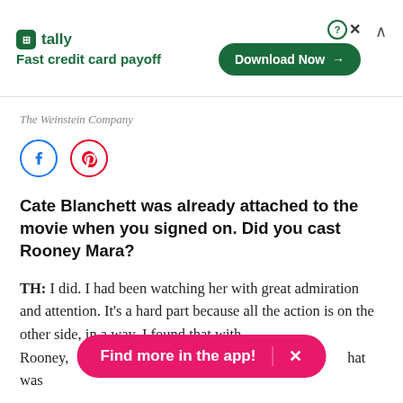[Figure (screenshot): Advertisement banner for Tally app — Fast credit card payoff, with Download Now button, question mark and X close icons, and chevron up.]
The Weinstein Company
[Figure (other): Social share icons: Facebook (blue circle) and Pinterest (red circle).]
Cate Blanchett was already attached to the movie when you signed on. Did you cast Rooney Mara?
TH: I did. I had been watching her with great admiration and attention. It's a hard part because all the action is on the other side, in a way. I found that with Rooney, [ways to underplay and] [that was
[Figure (other): Pink pill-shaped app promotion banner: 'Find more in the app!' with X close button.]